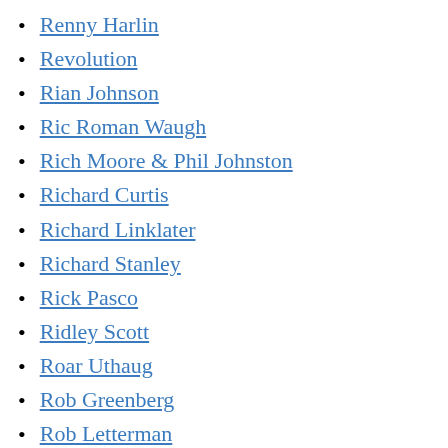Renny Harlin
Revolution
Rian Johnson
Ric Roman Waugh
Rich Moore & Phil Johnston
Richard Curtis
Richard Linklater
Richard Stanley
Rick Pasco
Ridley Scott
Roar Uthaug
Rob Greenberg
Rob Letterman
Rob Reiner
Robert Connolly
Robert D. Krzykowski
Robert Port
Robert Schwentke
Robert Wise